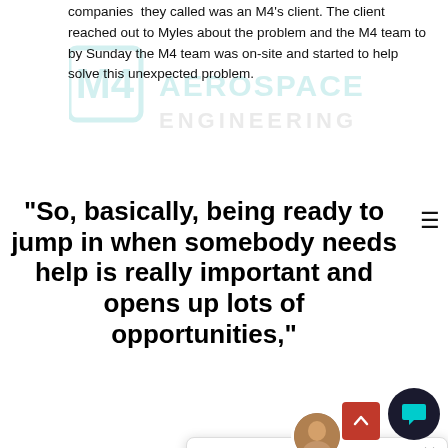companies they called was an M4's client. The client reached out to Myles about the problem and the M4 team to by Sunday the M4 team was on-site and started to help solve this unexpected problem.
[Figure (logo): M4 Aerospace Engineering watermark logo in teal/gray]
“So, basically, being ready to jump in when somebody needs help is really important and opens up lots of opportunities,”
Thanks to M4’s quick response, the company was able to grow in ways they never expected. “So, basically, being ready to jump in when somebody needs help is really important and opens up lots of opportunities,” Myles said. The relationships that we made that weekend have resulted in ten other projects… While Myles isn’t sure of just how impactful the event was, he credits that spontaneous weekend project to many of M4’s future successes.
In fact, one project that stemmed from this event was when M4 worked on the landing gear for an unmanned
[Figure (screenshot): Chat popup with avatar photo, close button, and message: Got any questions? Just let me know and I will try to help you with any non job application related topics.]